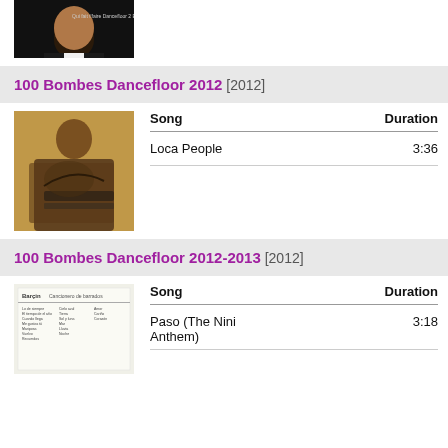[Figure (photo): Album art: man in tuxedo, dark background, partially visible at top of page]
100 Bombes Dancefloor 2012 [2012]
[Figure (photo): Album art: man in suit playing piano, sepia/golden toned photograph]
| Song | Duration |
| --- | --- |
| Loca People | 3:36 |
100 Bombes Dancefloor 2012-2013 [2012]
[Figure (photo): Album art: printed songbook/lyrics sheet with text columns]
| Song | Duration |
| --- | --- |
| Paso (The Nini Anthem) | 3:18 |